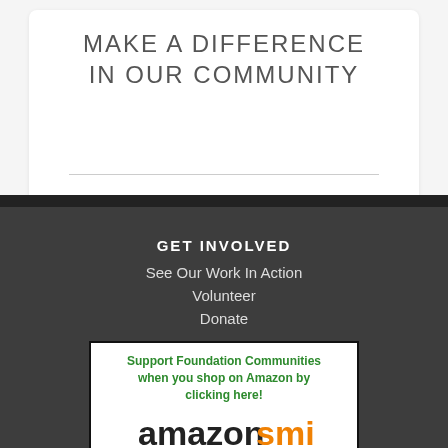MAKE A DIFFERENCE IN OUR COMMUNITY
GET INVOLVED
See Our Work In Action
Volunteer
Donate
[Figure (logo): AmazonSmile advertisement: 'Support Foundation Communities when you shop on Amazon by clicking here!' with AmazonSmile logo and tagline 'You Shop. Amazon Gives.']
CONNECT WITH US
Read Our Blog